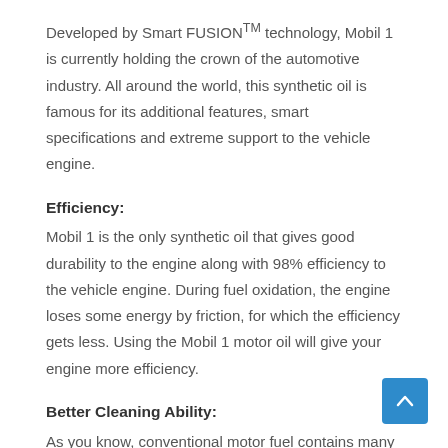Developed by Smart FUSIONTM technology, Mobil 1 is currently holding the crown of the automotive industry. All around the world, this synthetic oil is famous for its additional features, smart specifications and extreme support to the vehicle engine.
Efficiency:
Mobil 1 is the only synthetic oil that gives good durability to the engine along with 98% efficiency to the vehicle engine. During fuel oxidation, the engine loses some energy by friction, for which the efficiency gets less. Using the Mobil 1 motor oil will give your engine more efficiency.
Better Cleaning Ability:
As you know, conventional motor fuel contains many tiny particles like dust, chemical additives etc., which are equally harmful to your vehicle engine. The Mobil 1 mixed up with the conventional motor